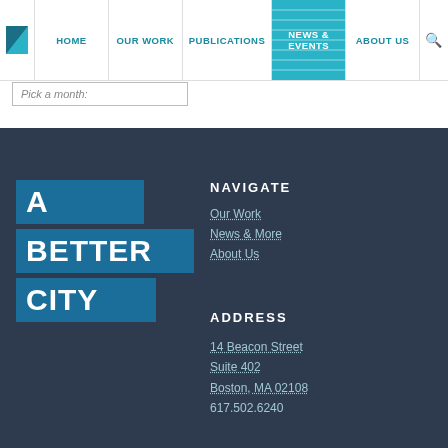HOME | OUR WORK | PUBLICATIONS | NEWS & EVENTS | ABOUT US
Pick a month:
[Figure (logo): A Better City logo - white text on teal/blue square blocks spelling A / BETTER / CITY]
NAVIGATE
Our Work
News & More
About Us
ADDRESS
14 Beacon Street
Suite 402
Boston, MA 02108
617.502.6240